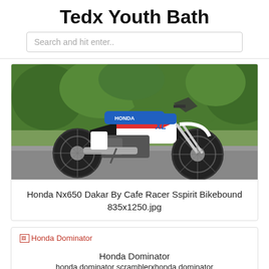Tedx Youth Bath
Search and hit enter..
[Figure (photo): Honda XL motorcycle (white, blue, red) parked on a road with green trees in background]
Honda Nx650 Dakar By Cafe Racer Sspirit Bikebound 835x1250.jpg
[Figure (photo): Broken image placeholder labeled Honda Dominator]
Honda Dominator
honda dominator scramblerxhonda dominator